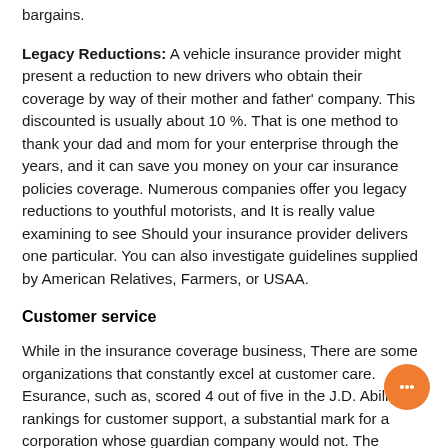bargains.
Legacy Reductions: A vehicle insurance provider might present a reduction to new drivers who obtain their coverage by way of their mother and father' company. This discounted is usually about 10 %. That is one method to thank your dad and mom for your enterprise through the years, and it can save you money on your car insurance policies coverage. Numerous companies offer you legacy reductions to youthful motorists, and It is really value examining to see Should your insurance provider delivers one particular. You can also investigate guidelines supplied by American Relatives, Farmers, or USAA.
Customer service
While in the insurance coverage business, There are some organizations that constantly excel at customer care. Esurance, such as, scored 4 out of five in the J.D. Ability rankings for customer support, a substantial mark for a corporation whose guardian company would not. The